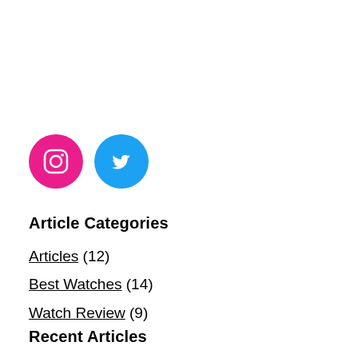[Figure (illustration): Two social media icon circles: Instagram (pink/magenta background) and Twitter (blue background) with white icons]
Article Categories
Articles (12)
Best Watches (14)
Watch Review (9)
Recent Articles